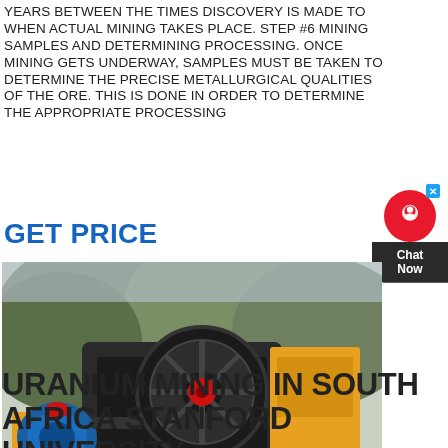YEARS BETWEEN THE TIMES DISCOVERY IS MADE TO WHEN ACTUAL MINING TAKES PLACE. STEP #6 MINING SAMPLES AND DETERMINING PROCESSING. ONCE MINING GETS UNDERWAY, SAMPLES MUST BE TAKEN TO DETERMINE THE PRECISE METALLURGICAL QUALITIES OF THE ORE. THIS IS DONE IN ORDER TO DETERMINE THE APPROPRIATE PROCESSING
GET PRICE
[Figure (photo): Photograph of heavy mining machinery (jaw crusher or similar equipment) with large flywheel, set against a mountainous forested background. The machine is yellow and black with red and blue components.]
URANIUM MINING IN SOUTH AFRICA STANFORD UNIVERSITY